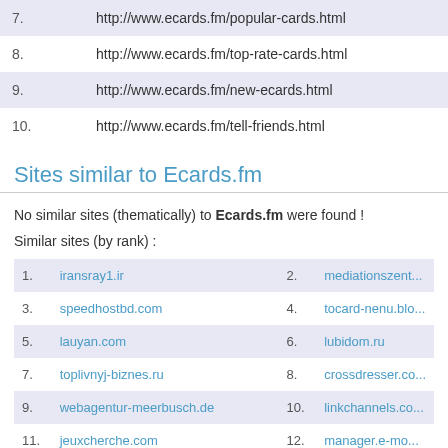| # | URL |
| --- | --- |
| 7. | http://www.ecards.fm/popular-cards.html |
| 8. | http://www.ecards.fm/top-rate-cards.html |
| 9. | http://www.ecards.fm/new-ecards.html |
| 10. | http://www.ecards.fm/tell-friends.html |
Sites similar to Ecards.fm
No similar sites (thematically) to Ecards.fm were found !
Similar sites (by rank) :
| # | Site | # | Site |
| --- | --- | --- | --- |
| 1. | iransray1.ir | 2. | mediationszent... |
| 3. | speedhostbd.com | 4. | tocard-nenu.blo... |
| 5. | lauyan.com | 6. | lubidom.ru |
| 7. | toplivnyj-biznes.ru | 8. | crossdresser.co... |
| 9. | webagentur-meerbusch.de | 10. | linkchannels.co... |
| 11. | jeuxcherche.com | 12. | manager.e-mo... |
| 13. | homedesigndirectory.com.au | 14. | spravki.net |